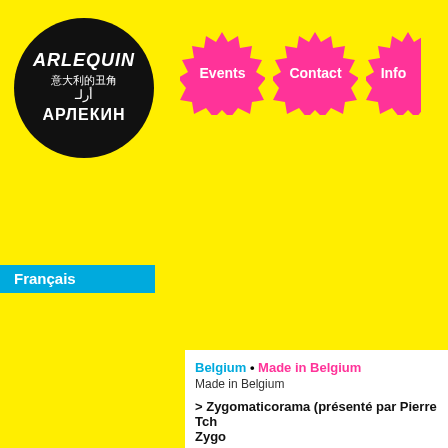[Figure (logo): Arlequin logo — black circle with white text showing 'ARLEQUIN' in stylized italic, Chinese characters, Arabic script, and Cyrillic 'АРЛЕКИН']
[Figure (infographic): Three pink starburst/badge buttons labeled 'Events', 'Contact', 'Info' on yellow background]
Français
Belgium • Made in Belgium
Made in Belgium
> Zygomaticorama (présenté par Pierre Tch... Zygo
Format : LP • Label : RTBF • Condition S : NM R...
Release date : 197? • Country : BE • Price : 15 €...
Description : ZYG 8003